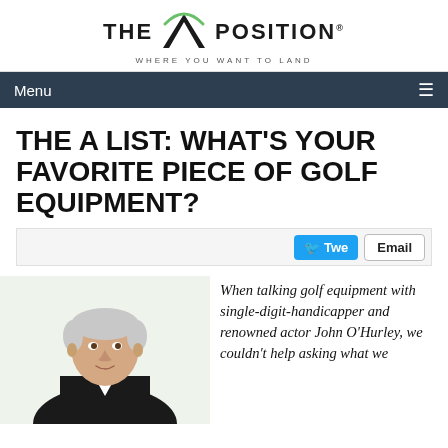[Figure (logo): The A Position logo with green arc over letter A, tagline WHERE YOU WANT TO LAND]
Menu ☰
THE A LIST: WHAT'S YOUR FAVORITE PIECE OF GOLF EQUIPMENT?
[Figure (screenshot): Share bar with Tweet and Email buttons]
[Figure (photo): Photo of John O'Hurley, silver-haired man in dark suit with hand on chin]
When talking golf equipment with single-digit-handicapper and renowned actor John O'Hurley, we couldn't help asking what we